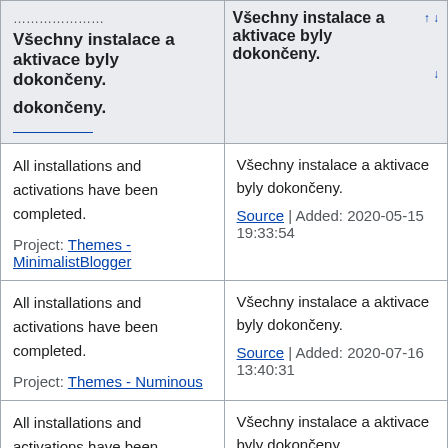| All installations and activations have been completed. / dokončeny. | Všechny instalace a aktivace byly dokončeny. |
| --- | --- |
| All installations and activations have been completed.
Project: Themes - MinimalistBlogger | Všechny instalace a aktivace byly dokončeny.
Source | Added: 2020-05-15 19:33:54 |
| All installations and activations have been completed.
Project: Themes - Numinous | Všechny instalace a aktivace byly dokončeny.
Source | Added: 2020-07-16 13:40:31 |
| All installations and activations have been completed. | Všechny instalace a aktivace byly dokončeny.
Source | Added: 2020-... |